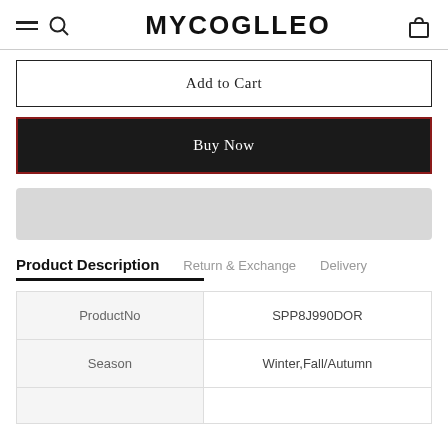MYCOGLLEO
Add to Cart
Buy Now
Product Description | Return & Exchange | Delivery
|  |  |
| --- | --- |
| ProductNo | SPP8J990DOR |
| Season | Winter,Fall/Autumn |